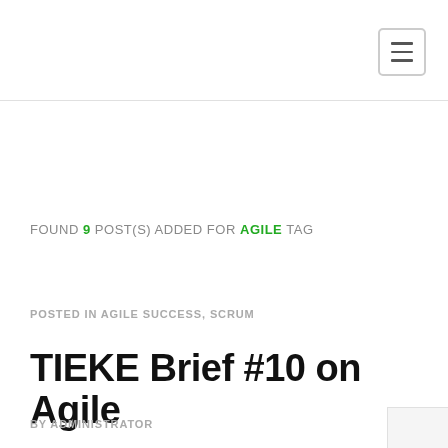FOUND 9 POST(S) ADDED FOR AGILE TAG
POSTED IN AGILE SUCCESS, SCRUM
TIEKE Brief #10 on Agile
BY ADMINISTRATOR